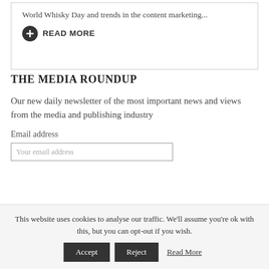World Whisky Day and trends in the content marketing...
READ MORE
THE MEDIA ROUNDUP
Our new daily newsletter of the most important news and views from the media and publishing industry
Email address
This website uses cookies to analyse our traffic. We'll assume you're ok with this, but you can opt-out if you wish.
Accept
Reject
Read More